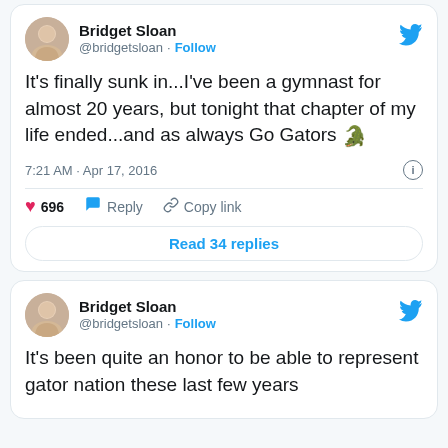[Figure (screenshot): Twitter/X screenshot showing two tweets by Bridget Sloan (@bridgetsloan). First tweet: 'It's finally sunk in...I've been a gymnast for almost 20 years, but tonight that chapter of my life ended...and as always Go Gators 🐊' posted at 7:21 AM · Apr 17, 2016, with 696 likes, Reply and Copy link actions, and a Read 34 replies button. Second tweet: 'It's been quite an honor to be able to represent gator nation these last few years']